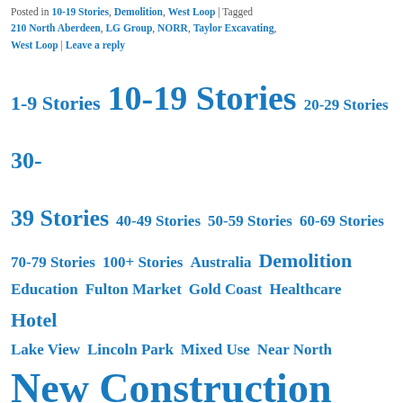Posted in 10-19 Stories, Demolition, West Loop | Tagged 210 North Aberdeen, LG Group, NORR, Taylor Excavating, West Loop | Leave a reply
[Figure (infographic): Tag cloud with blue links of varying font sizes: 1-9 Stories, 10-19 Stories, 20-29 Stories, 30-39 Stories, 40-49 Stories, 50-59 Stories, 60-69 Stories, 70-79 Stories, 100+ Stories, Australia, Demolition, Education, Fulton Market, Gold Coast, Healthcare, Hotel, Lake View, Lincoln Park, Mixed Use, Near North, New Construction (largest), Office, Renovation, Residential (large), River North, South Loop, Streeterville, The Loop, Tower Cranes (large), West Loop (large)]
CATEGORIES
1-9 Stories